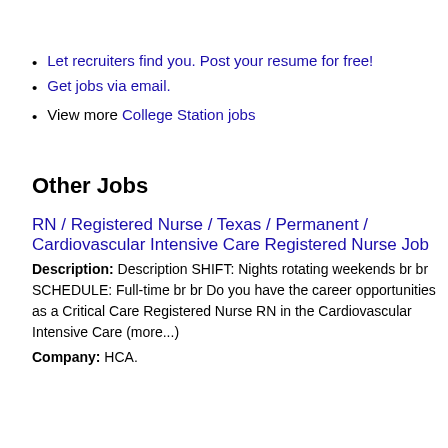Let recruiters find you. Post your resume for free!
Get jobs via email.
View more College Station jobs
Other Jobs
RN / Registered Nurse / Texas / Permanent / Cardiovascular Intensive Care Registered Nurse Job
Description: Description SHIFT: Nights rotating weekends br br SCHEDULE: Full-time br br Do you have the career opportunities as a Critical Care Registered Nurse RN in the Cardiovascular Intensive Care (more...)
Company: HCA.